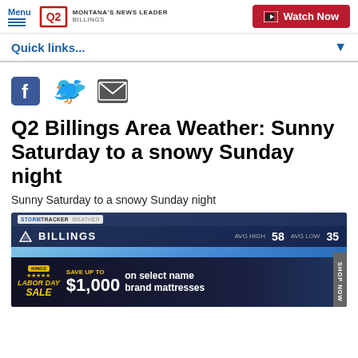Menu | Q2 Montana's News Leader Billings | Watch Now
Quick links...
[Figure (other): Social media icons row: Facebook, Twitter, Email]
Q2 Billings Area Weather: Sunny Saturday to a snowy Sunday night
Sunny Saturday to a snowy Sunday night
[Figure (screenshot): Weather forecast screenshot showing Billings AVG HIGH 58 AVG LOW 35, with a STORMTRACKER WEATHER banner and an advertisement for Labor Day Sale: Save up to $1,000 on select name brand mattresses]